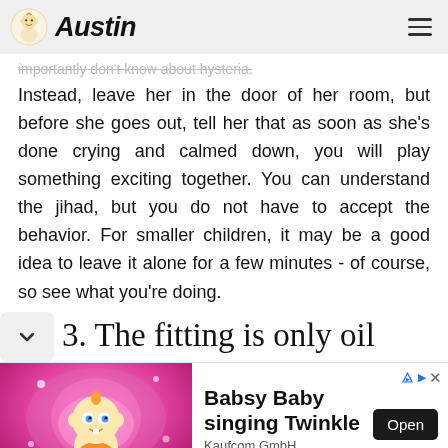Austin
importantly don't know about hysteria. Instead, leave her in the door of her room, but before she goes out, tell her that as soon as she's done crying and calmed down, you will play something exciting together. You can understand the jihad, but you do not have to accept the behavior. For smaller children, it may be a good idea to leave it alone for a few minutes - of course, so see what you're doing.
3. The fitting is only oil
[Figure (photo): Advertisement banner for Babsy Baby singing Twinkle by Kaufcom GmbH, featuring an animated baby character on a pink glowing background with an Open button.]